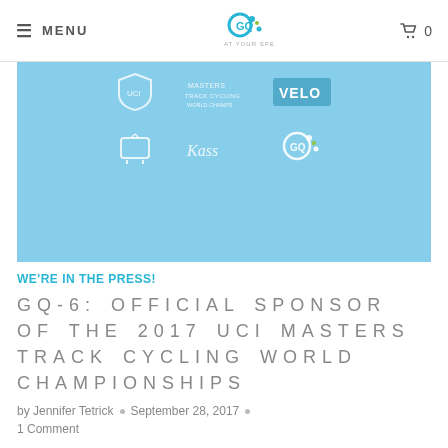MENU  [GQ-6 logo]  0
[Figure (illustration): Light blue banner with sponsor logos including a shield logo, stylized text logo, VELO logo, TV icon, scripted logo, and GQ-6 logo arranged in two rows]
WE'RE IN THE PRESS!
GQ-6: OFFICIAL SPONSOR OF THE 2017 UCI MASTERS TRACK CYCLING WORLD CHAMPIONSHIPS
by Jennifer Tetrick • September 28, 2017 •
1 Comment
GQ-6 Nutrition, Inc, will be an official sponsor of the 2017 UCI Masters Track Cycling World Championships, coming to the VELO Sports Center in Carson, CA, from October 8-15.